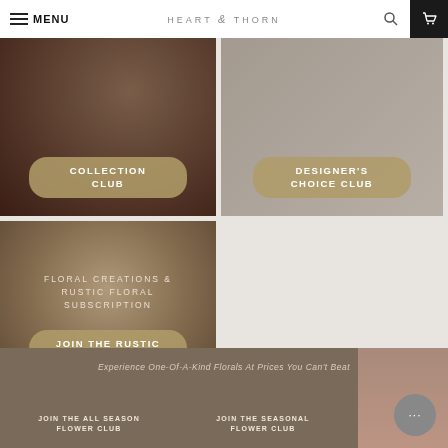MENU | HEART & THORN
[Figure (photo): Dark floral background card with rounded button overlay reading COLLECTION CLUB]
[Figure (photo): Light gray/beige background card with rounded button overlay reading DESIGNER'S CHOICE CLUB]
[Figure (photo): Rustic floral bouquet background card with text FLORAL CREATIONS & RUSTIC FLORAL SUBSCRIPTION and button JOIN THE RUSTIC FLOWER CLUB]
Experience One-Of-A-Kind Florals At Prices You Can't Beat
JOIN THE ALL SEASON FLOWER CLUB
JOIN THE SEASONAL FLOWER CLUB